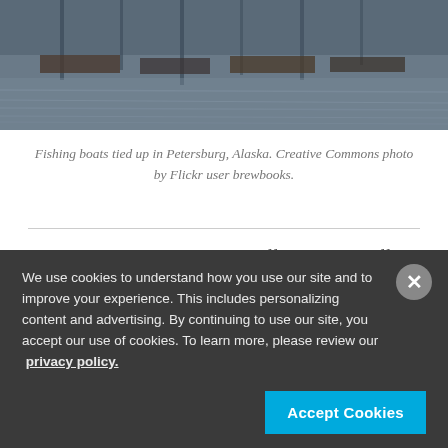[Figure (photo): Fishing boats tied up in Petersburg, Alaska, reflected in water. Photo shows masts and hulls reflecting on the water surface.]
Fishing boats tied up in Petersburg, Alaska. Creative Commons photo by Flickr user brewbooks.
Alaska's salmon season officially kicks off on Thursday, May 14, at Copper River near Cordova with the arrival of kings and
We use cookies to understand how you use our site and to improve your experience. This includes personalizing content and advertising. By continuing to use our site, you accept our use of cookies. To learn more, please review our privacy policy.
Accept Cookies